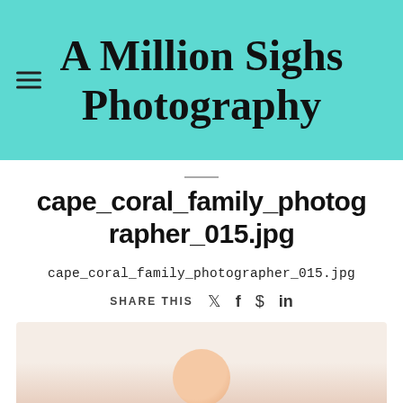A Million Sighs Photography
cape_coral_family_photographer_015.jpg
cape_coral_family_photographer_015.jpg
SHARE THIS
[Figure (photo): Partial view of a person, likely a child, shown from the top of head with light skin tone against a light background]